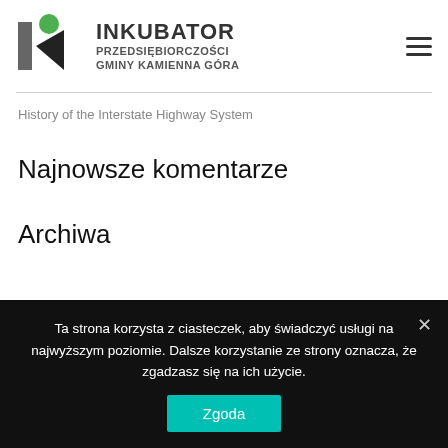[Figure (logo): Inkubator Przedsiębiorczości Gminy Kamienna Góra logo with stylized I mark and green circle]
History of the Interstate Highway System
Najnowsze komentarze
Archiwa
Ta strona korzysta z ciasteczek, aby świadczyć usługi na najwyższym poziomie. Dalsze korzystanie ze strony oznacza, że zgadzasz się na ich użycie.
Zgoda